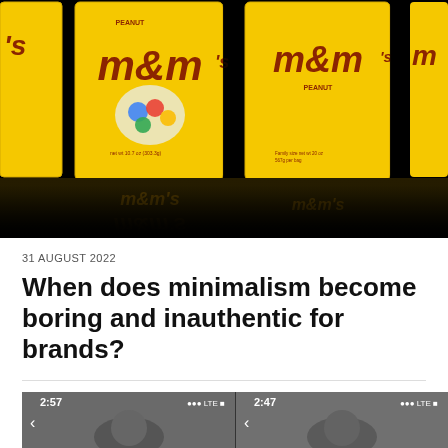[Figure (photo): Photograph of multiple yellow M&M's Peanut candy bags lined up against a black background, with reflections on a dark glossy surface below.]
31 AUGUST 2022
When does minimalism become boring and inauthentic for brands?
[Figure (screenshot): Two smartphone screenshots side by side showing mobile app interfaces with time displays of 2:57 and 2:47.]